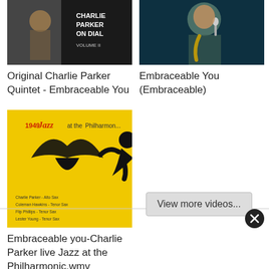[Figure (photo): Album cover: Charlie Parker on Dial, dark background with text overlay]
Original Charlie Parker Quintet - Embraceable You
[Figure (photo): Photo of jazz musician playing saxophone, dark teal/green background]
Embraceable You (Embraceable)
[Figure (illustration): Yellow Jazz at the Philharmonic 1949 poster with black silhouette figure]
Embraceable you-Charlie Parker live Jazz at the Philharmonic.wmv
View more videos...